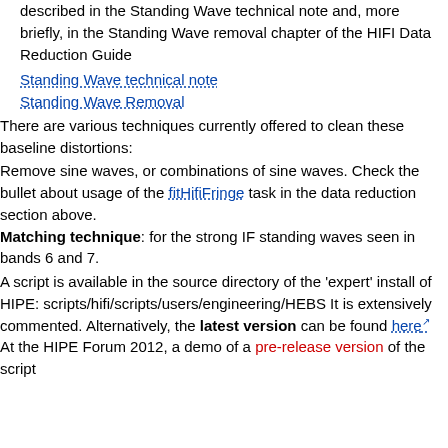described in the Standing Wave technical note and, more briefly, in the Standing Wave removal chapter of the HIFI Data Reduction Guide
Standing Wave technical note
Standing Wave Removal
There are various techniques currently offered to clean these baseline distortions:
Remove sine waves, or combinations of sine waves. Check the bullet about usage of the fitHifiFringe task in the data reduction section above.
Matching technique: for the strong IF standing waves seen in bands 6 and 7.
A script is available in the source directory of the 'expert' install of HIPE: scripts/hifi/scripts/users/engineering/HEBS It is extensively commented. Alternatively, the latest version can be found here
At the HIPE Forum 2012, a demo of a pre-release version of the script